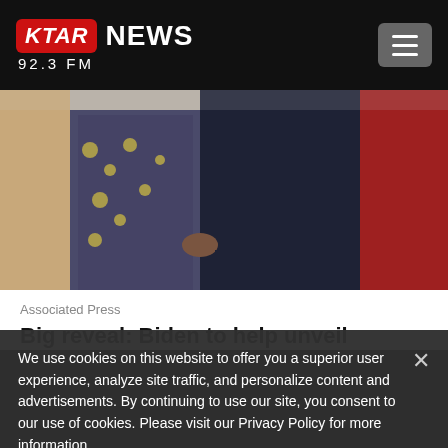KTAR NEWS 92.3 FM
[Figure (photo): Partial lower-body photo of two people walking together on a red carpet, one wearing a floral dress and the other in a dark suit]
Associated Press
Big reveal: Biden to help unveil Obama
We use cookies on this website to offer you a superior user experience, analyze site traffic, and personalize content and advertisements. By continuing to use our site, you consent to our use of cookies. Please visit our Privacy Policy for more information.
Accept Cookies